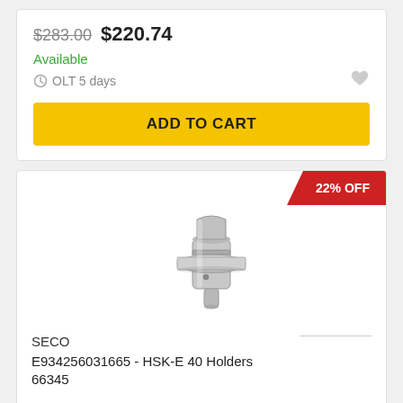$283.00  $220.74
Available
OLT 5 days
ADD TO CART
[Figure (photo): Silver HSK-E 40 tool holder with cylindrical shank and ring groove, product photo on white background. 22% OFF badge in top right corner.]
SECO
E934256031665 - HSK-E 40 Holders 66345